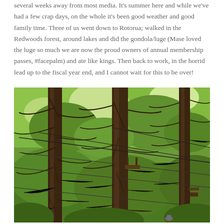several weeks away from most media. It's summer here and while we've had a few crap days, on the whole it's been good weather and good family time. Three of us went down to Rotorua; walked in the Redwoods forest, around lakes and did the gondola/luge (Mase loved the luge so much we are now the proud owners of annual membership passes, #facepalm) and ate like kings. Then back to work, in the horrid lead up to the fiscal year end, and I cannot wait for this to be over!
[Figure (photo): Photo of tall redwood trees in a forest with ropes course/zipline infrastructure visible. Dense green foliage fills the background. Dark brown tree trunks rise vertically with cables and platforms attached.]